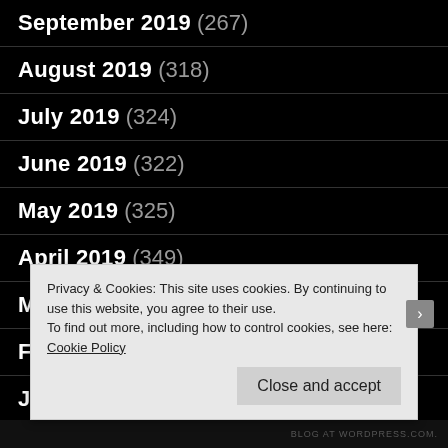September 2019 (267)
August 2019 (318)
July 2019 (324)
June 2019 (322)
May 2019 (325)
April 2019 (349)
March 2019 (400)
February 2019 (343)
January 2019 (301)
Privacy & Cookies: This site uses cookies. By continuing to use this website, you agree to their use.
To find out more, including how to control cookies, see here: Cookie Policy
Close and accept